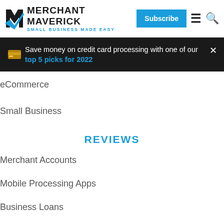MERCHANT MAVERICK — SMALL BUSINESS MADE EASY — Subscribe
Save money on credit card processing with one of our top 5 picks for 2022
eCommerce
Small Business
REVIEWS
Merchant Accounts
Mobile Processing Apps
Business Loans
Point of Sale Apps
Accounting Software
Shopping Cart Software